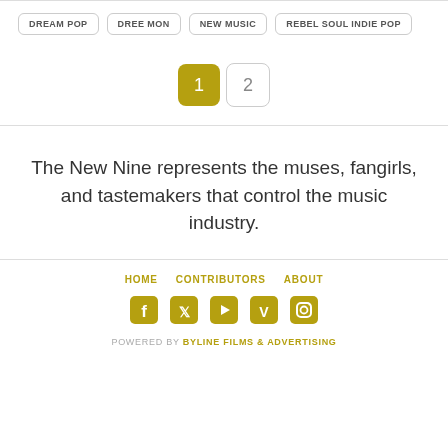DREAM POP
DREE MON
NEW MUSIC
REBEL SOUL INDIE POP
1  2
The New Nine represents the muses, fangirls, and tastemakers that control the music industry.
HOME  CONTRIBUTORS  ABOUT  POWERED BY BYLINE FILMS & ADVERTISING